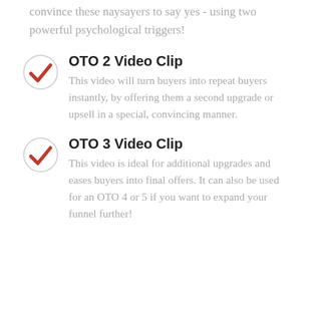convince these naysayers to say yes - using two powerful psychological triggers!
OTO 2 Video Clip – This video will turn buyers into repeat buyers instantly, by offering them a second upgrade or upsell in a special, convincing manner.
OTO 3 Video Clip – This video is ideal for additional upgrades and eases buyers into final offers. It can also be used for an OTO 4 or 5 if you want to expand your funnel further!